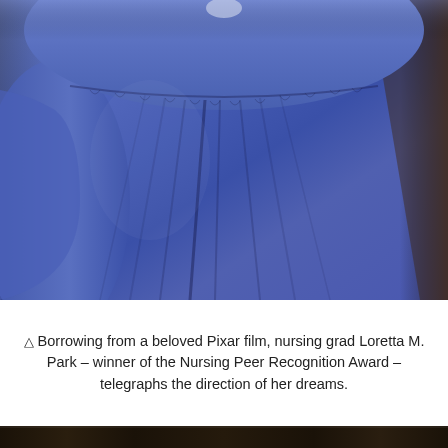[Figure (photo): Close-up photograph of a person wearing a blue graduation gown with gathered yoke/collar detail, dark background visible on the right side.]
△ Borrowing from a beloved Pixar film, nursing grad Loretta M. Park – winner of the Nursing Peer Recognition Award – telegraphs the direction of her dreams.
[Figure (photo): Partial bottom strip of a second photograph showing a dark interior scene.]